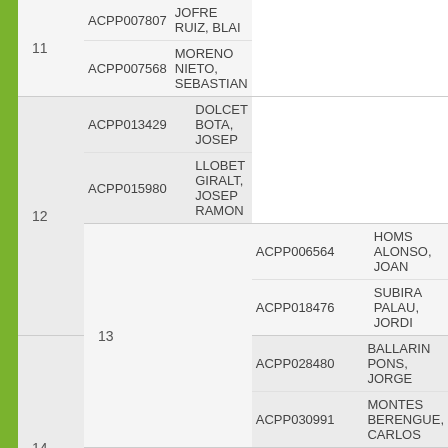| # | Code | Name |
| --- | --- | --- |
| 11 | ACPP007807 | JOFRE RUIZ, BLAI |
| 11 | ACPP007568 | MORENO NIETO, SEBASTIAN |
| 12 | ACPP013429 | DOLCET BOTA, JOSEP |
| 12 | ACPP015980 | LLOBET GIRALT, JOSEP RAMON |
| 13 | ACPP006564 | HOMS ALONSO, JOAN |
| 13 | ACPP018476 | SUBIRA PALAU, JORDI |
| 14 | ACPP028480 | BALLARIN PONS, JORGE |
| 14 | ACPP030991 | MONTES BERENGUE, CARLOS |
| 15 | ACPP028059 | DELSAMS SAURET, ERIC |
| 15 | ACPP028108 | NART SANUY, EDUARD |
| 16 | ACPP010152 | ARRIETA MARTINEZ, LUIS |
| 16 | ACPP008680 | MAS CASTILLO, VICTOR |
| 17 | ACPP010910 | VILADEGUT TRILLA, CARLES |
| 17 | ACPP030252 | CABRE CAPDEVILA, PABLO |
| 18 | ACPP024622 | MASELLES ALEGRE, JOAN RAMON |